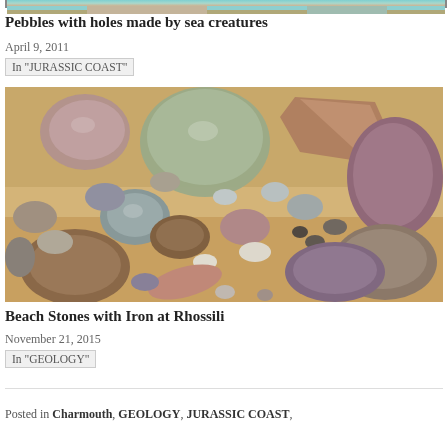[Figure (photo): Partial top strip of an image showing pebbles with holes made by sea creatures on Jurassic Coast]
Pebbles with holes made by sea creatures
April 9, 2011
In "JURASSIC COAST"
[Figure (photo): Beach stones of various sizes with iron at Rhossili — pebbles and rocks of purple, grey, green, beige colours on sandy beach]
Beach Stones with Iron at Rhossili
November 21, 2015
In "GEOLOGY"
Posted in Charmouth, GEOLOGY, JURASSIC COAST,